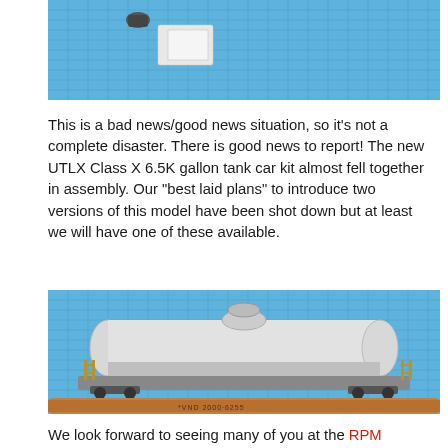[Figure (photo): Top portion of a photo showing model train parts on a blue cutting mat background]
This is a bad news/good news situation, so it’s not a complete disaster. There is good news to report! The new UTLX Class X 6.5K gallon tank car kit almost fell together in assembly. Our “best laid plans” to introduce two versions of this model have been shot down but at least we will have one of these available.
[Figure (photo): Photo of a white UTLX Class X 6.5K gallon tank car model kit assembled, sitting on a blue cutting mat with a pencil underneath for scale]
We look forward to seeing many of you at the RPM